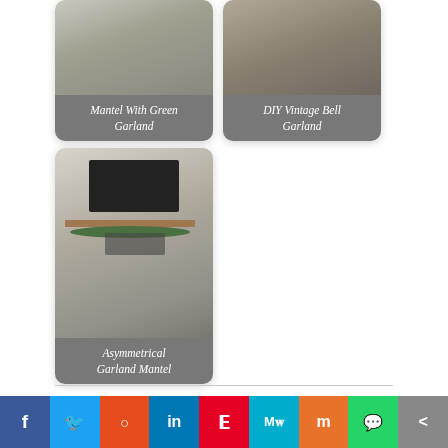[Figure (photo): Card with photo of mantel with green garland, labeled 'Mantel With Green Garland']
[Figure (photo): Card with photo of DIY vintage bell garland, labeled 'DIY Vintage Bell Garland']
[Figure (photo): Card with photo of asymmetrical garland mantel, labeled 'Asymmetrical Garland Mantel']
FILED UNDER: CRAFTS & SEWING, DIY PROJECTS
TAGGED WITH: DIY, DOLLAR STORE CRAFT, REPURPOSE, SEWING, TUTORIAL